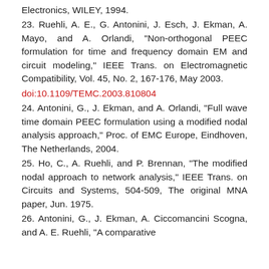Electronics, WILEY, 1994.
23. Ruehli, A. E., G. Antonini, J. Esch, J. Ekman, A. Mayo, and A. Orlandi, "Non-orthogonal PEEC formulation for time and frequency domain EM and circuit modeling," IEEE Trans. on Electromagnetic Compatibility, Vol. 45, No. 2, 167-176, May 2003.
doi:10.1109/TEMC.2003.810804
24. Antonini, G., J. Ekman, and A. Orlandi, "Full wave time domain PEEC formulation using a modified nodal analysis approach," Proc. of EMC Europe, Eindhoven, The Netherlands, 2004.
25. Ho, C., A. Ruehli, and P. Brennan, "The modified nodal approach to network analysis," IEEE Trans. on Circuits and Systems, 504-509, The original MNA paper, Jun. 1975.
26. Antonini, G., J. Ekman, A. Ciccomancini Scogna, and A. E. Ruehli, "A comparative